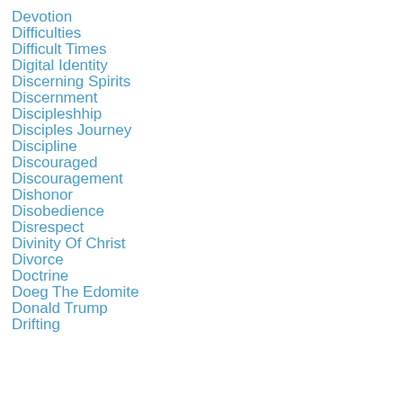Devotion
Difficulties
Difficult Times
Digital Identity
Discerning Spirits
Discernment
Discipleshhip
Disciples Journey
Discipline
Discouraged
Discouragement
Dishonor
Disobedience
Disrespect
Divinity Of Christ
Divorce
Doctrine
Doeg The Edomite
Donald Trump
Drifting